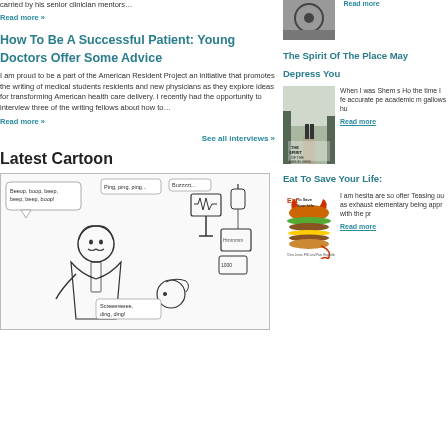carried by his senior clinician mentors…
Read more »
How To Be A Successful Patient: Young Doctors Offer Some Advice
I am proud to be a part of the American Resident Project an initiative that promotes the writing of medical students residents and new physicians as they explore ideas for transforming American health care delivery. I recently had the opportunity to interview three of the writing fellows about how to…
Read more »
See all interviews »
Latest Cartoon
[Figure (illustration): Medical cartoon showing doctor with patient in a hospital room with various medical equipment and sound effects like 'Beeop, boop, beep', 'Ping, ping, ping', 'Buzzzzt', 'Screeeeeee, ding, ding']
The Spirit Of The Place May Depress You
[Figure (photo): Book cover for The Spirit of the Place by Samuel Shem showing a person's legs on railway tracks in fog]
When I was Shem s Ho the time I fe accurate pe academic m gallows hu
Read more
Eat To Save Your Life:
[Figure (photo): Book cover for Eat To Save Your Life showing a burger stack with devil-themed design]
I am hesita are so ofter Teasing ou as exhaust elementary being appr with the pr
Read more